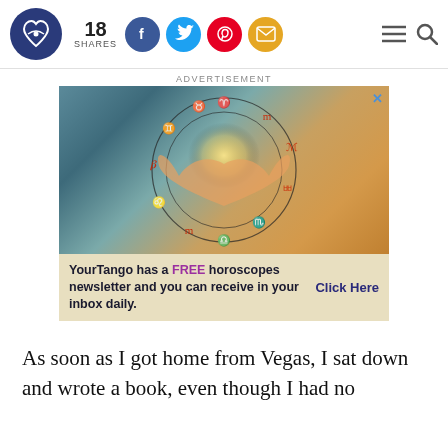[Figure (logo): YourTango logo — dark blue circle with interlocking heart/infinity symbol]
18 SHARES
[Figure (infographic): Social share buttons: Facebook (blue), Twitter (light blue), Pinterest (red), Email (gold/yellow)]
[Figure (infographic): Hamburger menu icon and search icon on the right side of the header]
ADVERTISEMENT
[Figure (photo): Advertisement image: two hands forming a heart shape with a zodiac wheel overlay, glowing sun in the background. Text: YourTango has a FREE horoscopes newsletter and you can receive in your inbox daily. Click Here]
As soon as I got home from Vegas, I sat down and wrote a book, even though I had no